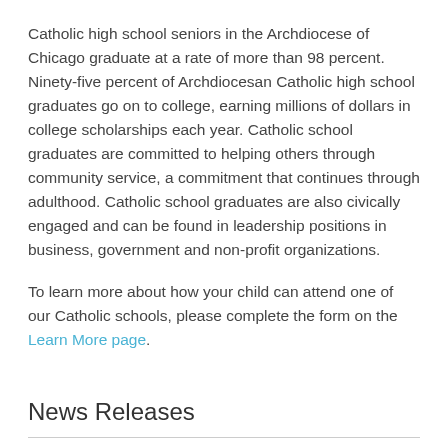Catholic high school seniors in the Archdiocese of Chicago graduate at a rate of more than 98 percent. Ninety-five percent of Archdiocesan Catholic high school graduates go on to college, earning millions of dollars in college scholarships each year. Catholic school graduates are committed to helping others through community service, a commitment that continues through adulthood. Catholic school graduates are also civically engaged and can be found in leadership positions in business, government and non-profit organizations.
To learn more about how your child can attend one of our Catholic schools, please complete the form on the Learn More page.
News Releases
Catholic Schools Today Radio Show